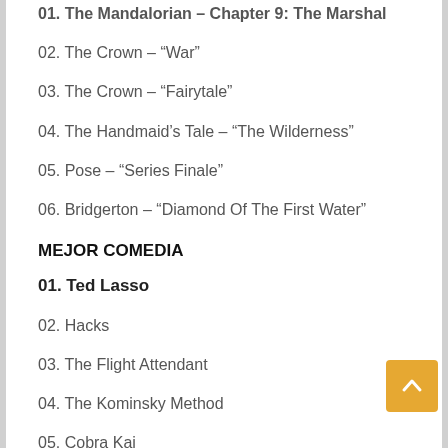01. The Mandalorian – Chapter 9: The Marshal
02. The Crown – “War”
03. The Crown – “Fairytale”
04. The Handmaid’s Tale – “The Wilderness”
05. Pose – “Series Finale”
06. Bridgerton – “Diamond Of The First Water”
MEJOR COMEDIA
01. Ted Lasso
02. Hacks
03. The Flight Attendant
04. The Kominsky Method
05. Cobra Kai
06. Black-ish